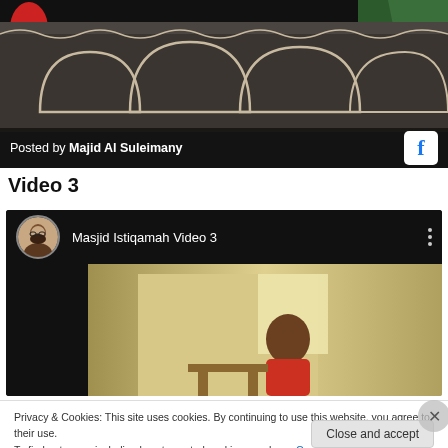[Figure (screenshot): Facebook post image showing decorative Islamic mosque architecture with arches and ornamental stonework. Red circular decoration top-left, green cloth top-right. Bottom bar shows 'Posted by Majid Al Suleimany' with Facebook icon.]
Video 3
[Figure (screenshot): Embedded video player showing 'Masjid Istiqamah Video 3' with a circular avatar of a bearded man on the left, video thumbnail showing a figure inside a mosque room on the right, three-dot menu icon top-right.]
Privacy & Cookies: This site uses cookies. By continuing to use this website, you agree to their use.
To find out more, including how to control cookies, see here: Cookie Policy